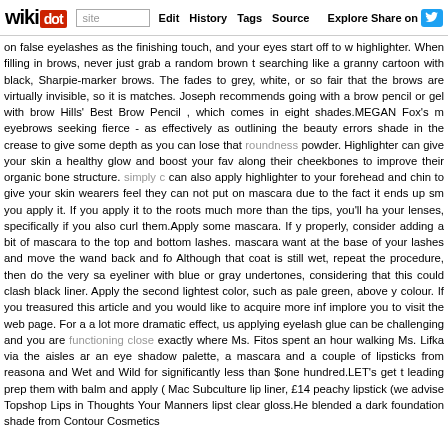wikidot | site Edit History Tags Source Explore Share on [Twitter]
on false eyelashes as the finishing touch, and your eyes start off to w highlighter. When filling in brows, never just grab a random brown t searching like a granny cartoon with black, Sharpie-marker brows. The fades to grey, white, or so fair that the brows are virtually invisible, so it is matches. Joseph recommends going with a brow pencil or gel with brow Hills' Best Brow Pencil , which comes in eight shades.MEGAN Fox's m eyebrows seeking fierce - as effectively as outlining the beauty errors shade in the crease to give some depth as you can lose that roundness powder. Highlighter can give your skin a healthy glow and boost your fav along their cheekbones to improve their organic bone structure. simply c can also apply highlighter to your forehead and chin to give your skin wearers feel they can not put on mascara due to the fact it ends up sm you apply it. If you apply it to the roots much more than the tips, you'll ha your lenses, specifically if you also curl them.Apply some mascara. If y properly, consider adding a bit of mascara to the top and bottom lashes. mascara want at the base of your lashes and move the wand back and fo Although that coat is still wet, repeat the procedure, then do the very sa eyeliner with blue or gray undertones, considering that this could clash black liner. Apply the second lightest color, such as pale green, above y colour. If you treasured this article and you would like to acquire more inf implore you to visit the web page. For a a lot more dramatic effect, us applying eyelash glue can be challenging and you are functioning close exactly where Ms. Fitos spent an hour walking Ms. Lifka via the aisles ar an eye shadow palette, a mascara and a couple of lipsticks from reasona and Wet and Wild for significantly less than $one hundred.LET's get t leading prep them with balm and apply ( Mac Subculture lip liner, £14 peachy lipstick (we advise Topshop Lips in Thoughts Your Manners lipst clear gloss.He blended a dark foundation shade from Contour Cosmetics